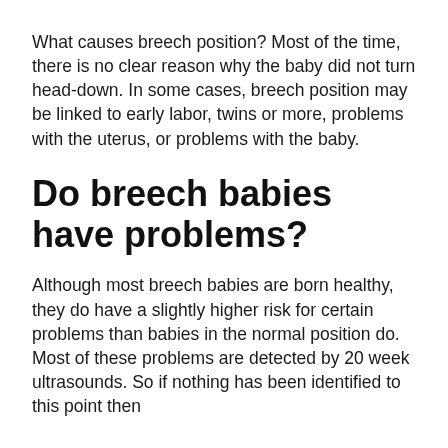What causes breech position? Most of the time, there is no clear reason why the baby did not turn head-down. In some cases, breech position may be linked to early labor, twins or more, problems with the uterus, or problems with the baby.
Do breech babies have problems?
Although most breech babies are born healthy, they do have a slightly higher risk for certain problems than babies in the normal position do. Most of these problems are detected by 20 week ultrasounds. So if nothing has been identified to this point then